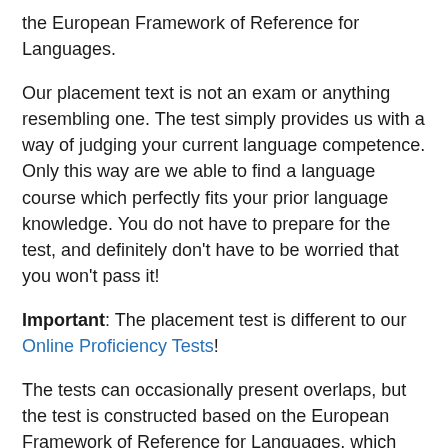the European Framework of Reference for Languages.
Our placement text is not an exam or anything resembling one. The test simply provides us with a way of judging your current language competence. Only this way are we able to find a language course which perfectly fits your prior language knowledge. You do not have to prepare for the test, and definitely don't have to be worried that you won't pass it!
Important: The placement test is different to our Online Proficiency Tests!
The tests can occasionally present overlaps, but the test is constructed based on the European Framework of Reference for Languages, which means that it can be used as a point of comparison. This also means that there is a European 'yardstick' for the learning of languages, ensuring the various European language certificates can easily be